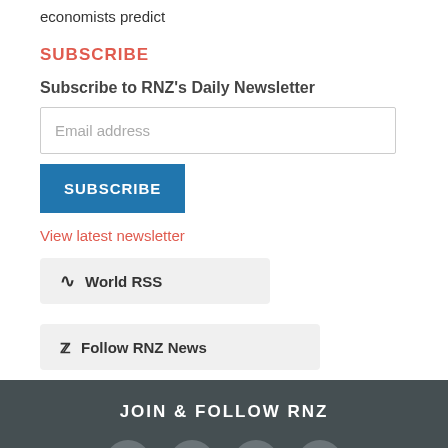economists predict
SUBSCRIBE
Subscribe to RNZ's Daily Newsletter
Email address
SUBSCRIBE
View latest newsletter
World RSS
Follow RNZ News
JOIN & FOLLOW RNZ